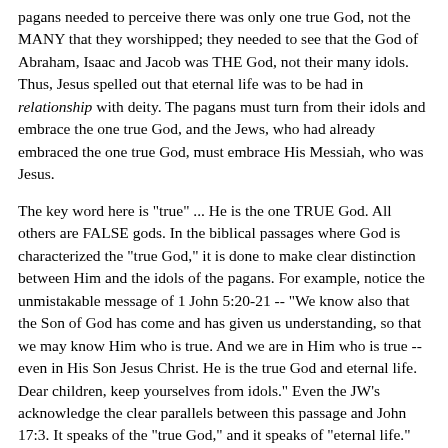pagans needed to perceive there was only one true God, not the MANY that they worshipped; they needed to see that the God of Abraham, Isaac and Jacob was THE God, not their many idols. Thus, Jesus spelled out that eternal life was to be had in relationship with deity. The pagans must turn from their idols and embrace the one true God, and the Jews, who had already embraced the one true God, must embrace His Messiah, who was Jesus.
The key word here is "true" ... He is the one TRUE God. All others are FALSE gods. In the biblical passages where God is characterized the "true God," it is done to make clear distinction between Him and the idols of the pagans. For example, notice the unmistakable message of 1 John 5:20-21 -- "We know also that the Son of God has come and has given us understanding, so that we may know Him who is true. And we are in Him who is true -- even in His Son Jesus Christ. He is the true God and eternal life. Dear children, keep yourselves from idols." Even the JW's acknowledge the clear parallels between this passage and John 17:3. It speaks of the "true God," and it speaks of "eternal life." We see the Son and also the Father. And we see the charge to forsake idolatry. The TRUE God is in contrast to FALSE gods. Paul told the saints in Thessalonica, "you turned to God from idols to serve a living and TRUE God" (1 Thess. 1:9). Again, He is the TRUE God as opposed to the many FALSE gods. This distinction reaches back